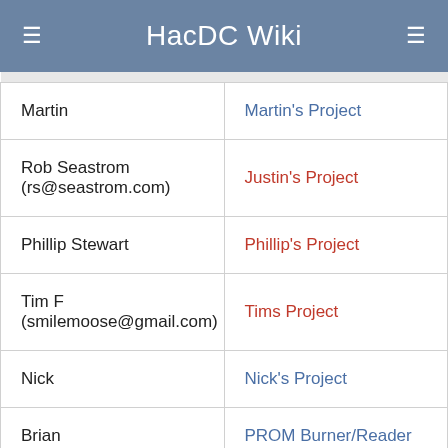HacDC Wiki
| Person | Project |
| --- | --- |
| Martin | Martin's Project |
| Rob Seastrom (rs@seastrom.com) | Justin's Project |
| Phillip Stewart | Phillip's Project |
| Tim F (smilemoose@gmail.com) | Tims Project |
| Nick | Nick's Project |
| Brian | PROM Burner/Reader |
| Elliot | Elliots's Project |
| Justin | Justin's Project |